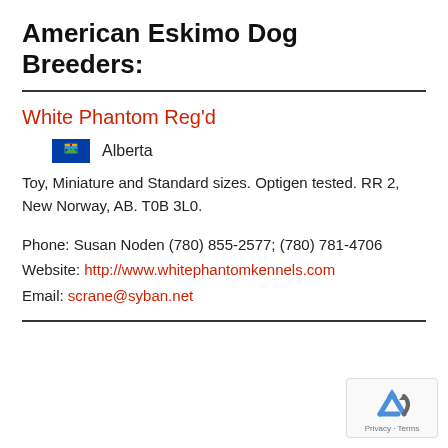American Eskimo Dog Breeders:
White Phantom Reg'd
Alberta
Toy, Miniature and Standard sizes. Optigen tested. RR 2, New Norway, AB. T0B 3L0.
Phone: Susan Noden (780) 855-2577; (780) 781-4706
Website: http://www.whitephantomkennels.com
Email: scrane@syban.net
[Figure (logo): Google reCAPTCHA widget with recycling-arrow logo and 'Privacy - Terms' text]